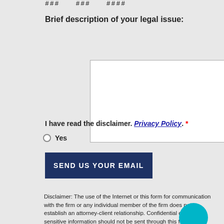### ### ####
Brief description of your legal issue:
I have read the disclaimer. Privacy Policy. *
Yes
SEND US YOUR EMAIL
Disclaimer: The use of the Internet or this form for communication with the firm or any individual member of the firm does not establish an attorney-client relationship. Confidential or time-sensitive information should not be sent through this form.